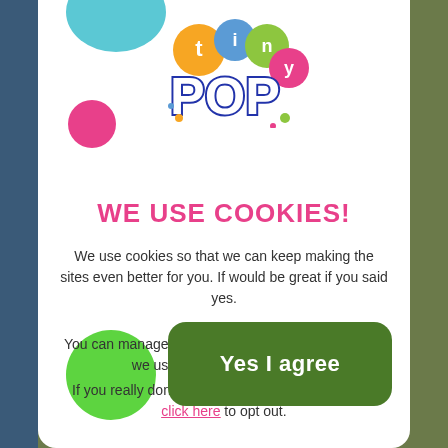[Figure (logo): Tiny Pop logo with colorful circles (orange, blue, green) and colorful 'POP' text in bold with a blue outline and decorative dots]
WE USE COOKIES!
We use cookies so that we can keep making the sites even better for you. If would be great if you said yes.
You can manage your preferences and find out how we use your information here.
If you really don't want us to use cookies you can click here to opt out.